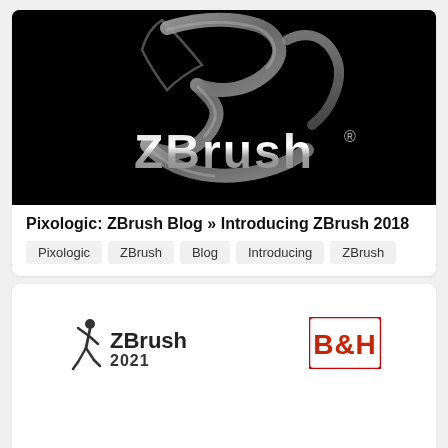[Figure (logo): ZBrush logo on black background — stylized metallic 'Z' shape above with 'ZBrush' text in chrome lettering with registered trademark symbol]
Pixologic: ZBrush Blog » Introducing ZBrush 2018
Pixologic
ZBrush
Blog
Introducing
ZBrush
[Figure (logo): ZBrush 2021 logo with running figure icon on left and B&H logo on right, on white background]